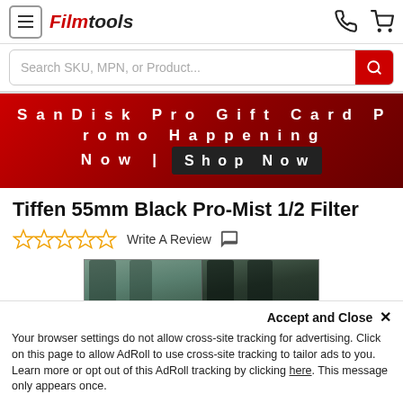Filmtools — navigation header with hamburger menu, logo, phone and cart icons
Search SKU, MPN, or Product...
[Figure (infographic): Red promotional banner: SanDisk Pro Gift Card Promo Happening Now | Shop Now]
Tiffen 55mm Black Pro-Mist 1/2 Filter
Write A Review
[Figure (photo): Side-by-side comparison photo of outdoor scene through a filter (left) and without (right), showing trees and a railing]
Accept and Close ✕
Your browser settings do not allow cross-site tracking for advertising. Click on this page to allow AdRoll to use cross-site tracking to tailor ads to you. Learn more or opt out of this AdRoll tracking by clicking here. This message only appears once.